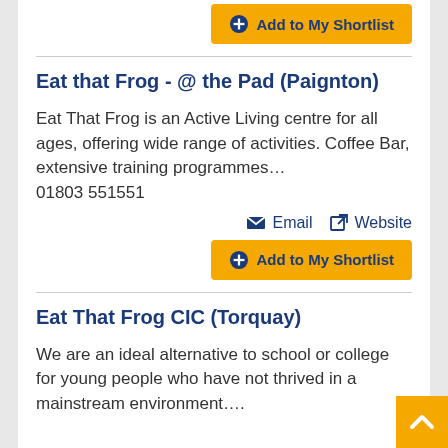Add to My Shortlist
Eat that Frog - @ the Pad (Paignton)
Eat That Frog is an Active Living centre for all ages, offering wide range of activities. Coffee Bar, extensive training programmes…
01803 551551
Email   Website
Add to My Shortlist
Eat That Frog CIC (Torquay)
We are an ideal alternative to school or college for young people who have not thrived in a mainstream environment….